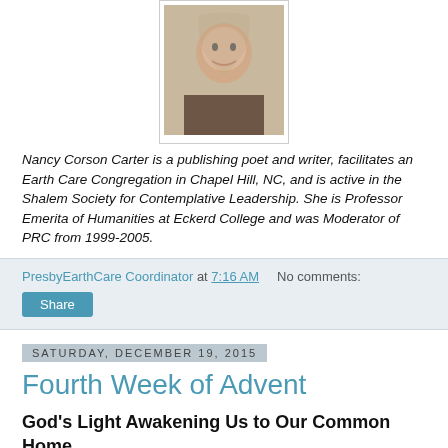[Figure (photo): Portrait photo of Nancy Corson Carter, a woman with glasses, smiling, shown from shoulders up.]
Nancy Corson Carter is a publishing poet and writer, facilitates an Earth Care Congregation in Chapel Hill, NC, and is active in the Shalem Society for Contemplative Leadership. She is Professor Emerita of Humanities at Eckerd College and was Moderator of PRC from 1999-2005.
PresbyEarthCare Coordinator at 7:16 AM   No comments:
Share
Saturday, December 19, 2015
Fourth Week of Advent
God's Light Awakening Us to Our Common Home